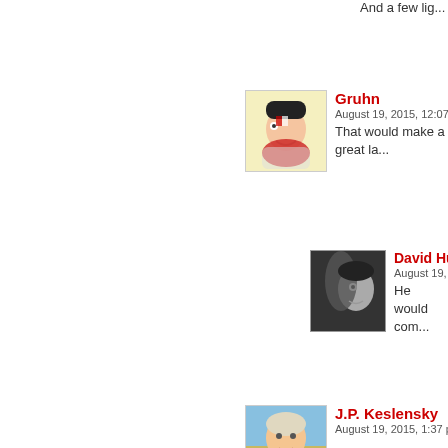And a few lig...
Gruhn
August 19, 2015, 12:07 pm | #
That would make a great la...
David Hurley
August 19, 2015, ...
He would com...
J.P. Keslensky
August 19, 2015, 1:37 pm | #
Let's all glow in the dark, it f... must play"?
David Hurley
August 19, 2015, ...
Haha, no radia...
evan yeti
August 19, 2015, 3:54 pm | #
That was illuminating!